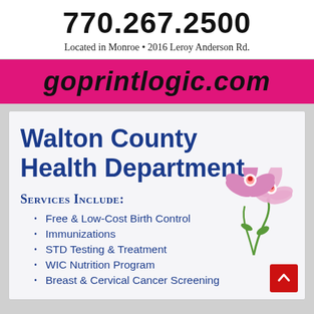770.267.2500
Located in Monroe • 2016 Leroy Anderson Rd.
goprintlogic.com
Walton County Health Department
Services Include:
Free & Low-Cost Birth Control
Immunizations
STD Testing & Treatment
WIC Nutrition Program
Breast & Cervical Cancer Screening
[Figure (illustration): Pink orchid flowers decoration]